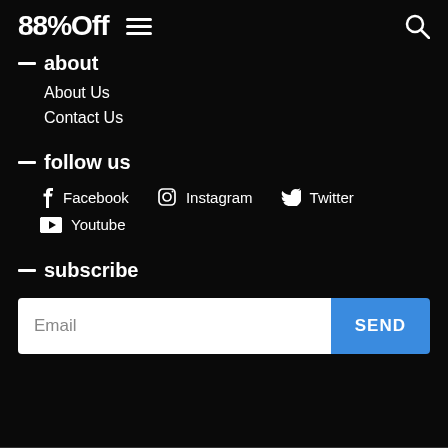88%Off
– about
About Us
Contact Us
– follow us
Facebook  Instagram  Twitter
Youtube
– subscribe
Email  SEND